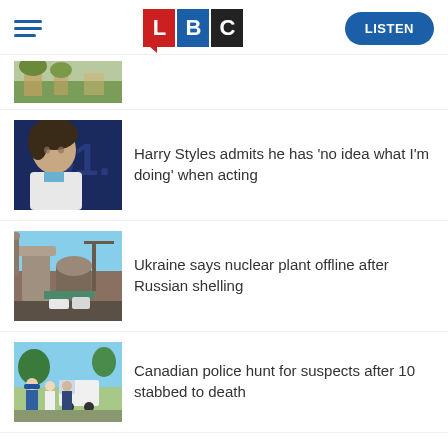LBC - LISTEN
[Figure (photo): Partial thumbnail of an outdoor/park scene at top of news feed]
Harry Styles admits he has 'no idea what I'm doing' when acting
Ukraine says nuclear plant offline after Russian shelling
Canadian police hunt for suspects after 10 stabbed to death